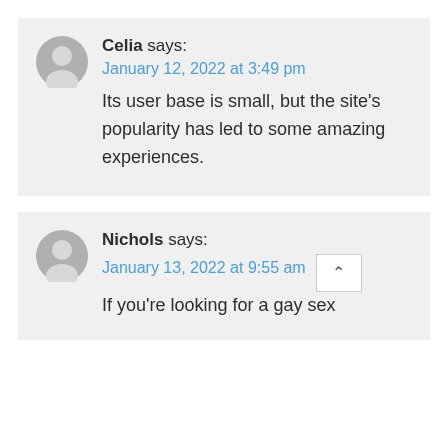Celia says:
January 12, 2022 at 3:49 pm
Its user base is small, but the site's popularity has led to some amazing experiences.
Nichols says:
January 13, 2022 at 9:55 am
If you're looking for a gay sex